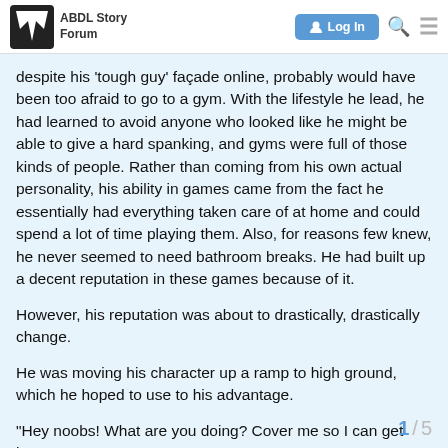ABDL Story Forum | Log In
despite his 'tough guy' façade online, probably would have been too afraid to go to a gym. With the lifestyle he lead, he had learned to avoid anyone who looked like he might be able to give a hard spanking, and gyms were full of those kinds of people. Rather than coming from his own actual personality, his ability in games came from the fact he essentially had everything taken care of at home and could spend a lot of time playing them. Also, for reasons few knew, he never seemed to need bathroom breaks. He had built up a decent reputation in these games because of it.
However, his reputation was about to drastically, drastically change.
He was moving his character up a ramp to high ground, which he hoped to use to his advantage.
"Hey noobs! What are you doing? Cover me so I can get here? LEARN TO PLAY."
1 / 5